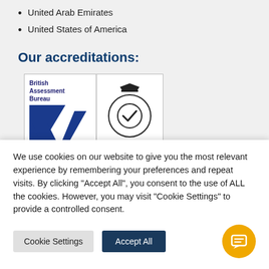United Arab Emirates
United States of America
Our accreditations:
[Figure (logo): British Assessment Bureau / UKAS Management Systems accreditation badge, number 8289]
We use cookies on our website to give you the most relevant experience by remembering your preferences and repeat visits. By clicking "Accept All", you consent to the use of ALL the cookies. However, you may visit "Cookie Settings" to provide a controlled consent.